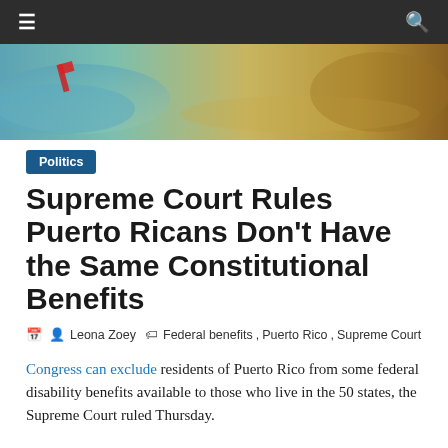≡  🔍
[Figure (photo): Beach scene with sand and water, aerial or angled view with partial red object visible]
Politics
Supreme Court Rules Puerto Ricans Don't Have the Same Constitutional Benefits
Leona Zoey   Federal benefits, Puerto Rico, Supreme Court
Congress can exclude residents of Puerto Rico from some federal disability benefits available to those who live in the 50 states, the Supreme Court ruled Thursday.